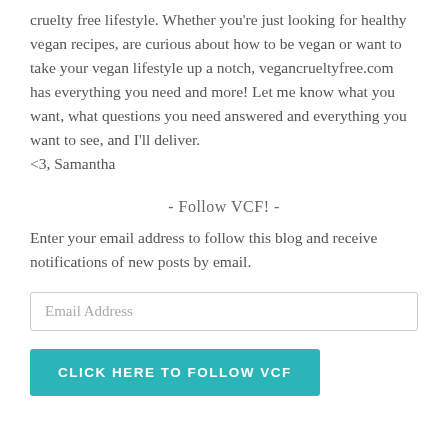cruelty free lifestyle. Whether you're just looking for healthy vegan recipes, are curious about how to be vegan or want to take your vegan lifestyle up a notch, vegancrueltyfree.com has everything you need and more! Let me know what you want, what questions you need answered and everything you want to see, and I'll deliver.
<3, Samantha
- Follow VCF! -
Enter your email address to follow this blog and receive notifications of new posts by email.
Email Address
CLICK HERE TO FOLLOW VCF